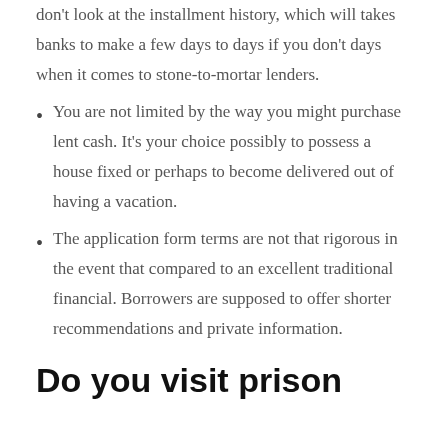don't look at the installment history, which will takes banks to make a few days to days if you don't days when it comes to stone-to-mortar lenders.
You are not limited by the way you might purchase lent cash. It's your choice possibly to possess a house fixed or perhaps to become delivered out of having a vacation.
The application form terms are not that rigorous in the event that compared to an excellent traditional financial. Borrowers are supposed to offer shorter recommendations and private information.
Do you visit prison